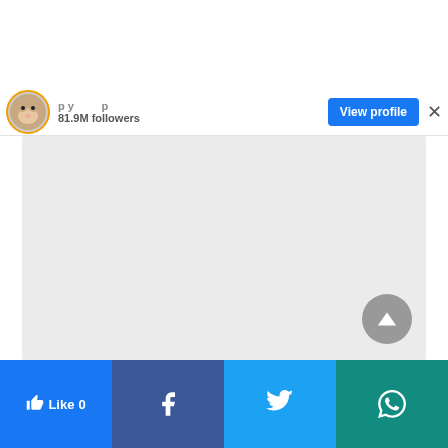[Figure (screenshot): Social media profile popup showing avatar with orange border ring, profile name (partially visible), 81.9M followers, a blue 'View profile' button, a close (×) button, a large gray content/image area, a gray scroll-to-top button, and a bottom share bar with Like, Facebook, Twitter, and WhatsApp buttons.]
81.9M followers
View profile
Like 0